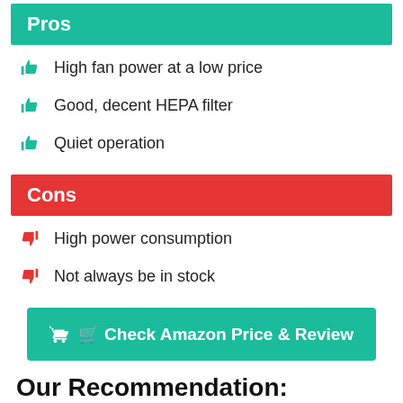Pros
High fan power at a low price
Good, decent HEPA filter
Quiet operation
Cons
High power consumption
Not always be in stock
[Figure (other): Green button: Check Amazon Price & Review with shopping cart icon]
Our Recommendation:
Actually, here we discuss the different prices & brand